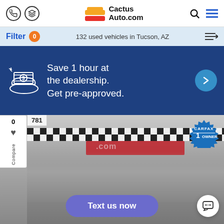[Figure (screenshot): Cactus Auto.com website header with phone icon, directions icon, logo, search icon, and hamburger menu]
Filter 0  132 used vehicles in Tucson, AZ
[Figure (infographic): Dark blue promo banner: Save 1 hour at the dealership. Get pre-approved. With money/hand icon and arrow button.]
[Figure (photo): Cactus Auto dealership storefront with checkered banner, number 781, CARFAX 1 Owner badge, and silver Ford truck in lot]
Text us now